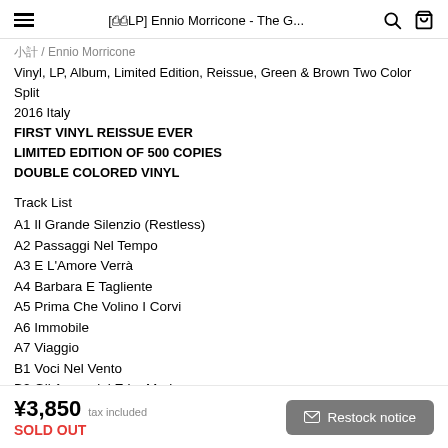[🔷LP] Ennio Morricone - The G...
Ennio Morricone
Vinyl, LP, Album, Limited Edition, Reissue, Green & Brown Two Color Split
2016 Italy
FIRST VINYL REISSUE EVER
LIMITED EDITION OF 500 COPIES
DOUBLE COLORED VINYL
Track List
A1 Il Grande Silenzio (Restless)
A2 Passaggi Nel Tempo
A3 E L'Amore Verrà
A4 Barbara E Tagliente
A5 Prima Che Volino I Corvi
A6 Immobile
A7 Viaggio
B1 Voci Nel Vento
B2 Gli Assassini E La Madre
B3 Invito All' Amore (Silent Love)
B4 Nel Vecchio Saloon
B5 L'Ultima Corsa...
¥3,850 tax included SOLD OUT  Restock notice